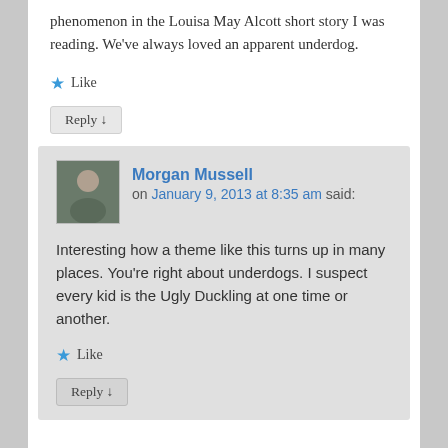phenomenon in the Louisa May Alcott short story I was reading. We've always loved an apparent underdog.
★ Like
Reply ↓
Morgan Mussell on January 9, 2013 at 8:35 am said:
Interesting how a theme like this turns up in many places. You're right about underdogs. I suspect every kid is the Ugly Duckling at one time or another.
★ Like
Reply ↓